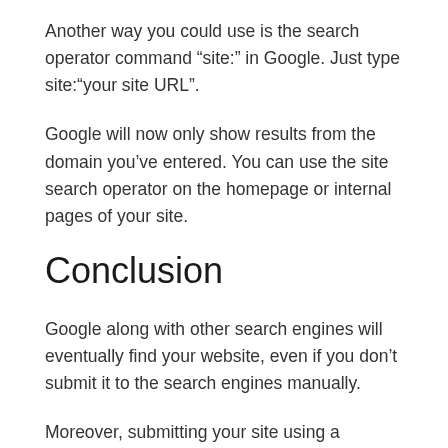Another way you could use is the search operator command “site:” in Google. Just type site:“your site URL”.
Google will now only show results from the domain you’ve entered. You can use the site search operator on the homepage or internal pages of your site.
Conclusion
Google along with other search engines will eventually find your website, even if you don’t submit it to the search engines manually.
Moreover, submitting your site using a sitemap is good practice and it’s worth doing it if you don’t